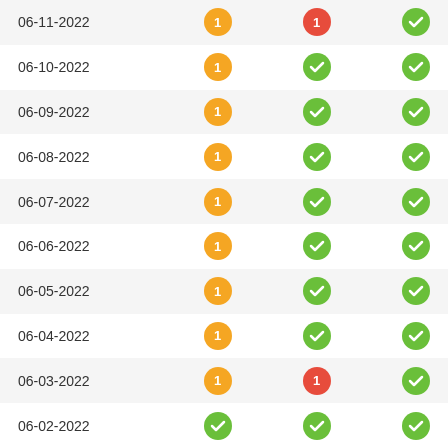| Date | Col1 | Col2 | Col3 |
| --- | --- | --- | --- |
| 06-11-2022 | 1 (orange) | 1 (red) | check (green) |
| 06-10-2022 | 1 (orange) | check (green) | check (green) |
| 06-09-2022 | 1 (orange) | check (green) | check (green) |
| 06-08-2022 | 1 (orange) | check (green) | check (green) |
| 06-07-2022 | 1 (orange) | check (green) | check (green) |
| 06-06-2022 | 1 (orange) | check (green) | check (green) |
| 06-05-2022 | 1 (orange) | check (green) | check (green) |
| 06-04-2022 | 1 (orange) | check (green) | check (green) |
| 06-03-2022 | 1 (orange) | 1 (red) | check (green) |
| 06-02-2022 | check (green) | check (green) | check (green) |